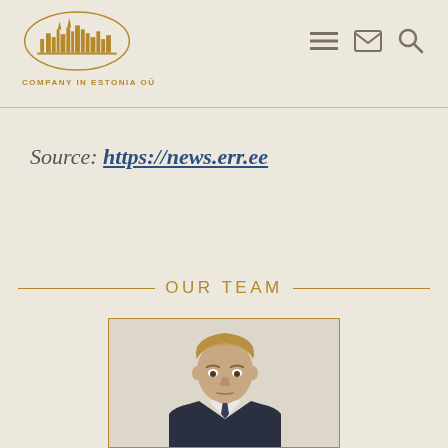COMPANY IN ESTONIA OÜ
Source: https://news.err.ee
OUR TEAM
[Figure (photo): Professional headshot of a man in a suit with short blonde hair, shown from shoulders up against a light background, displayed in a gold-bordered card frame.]